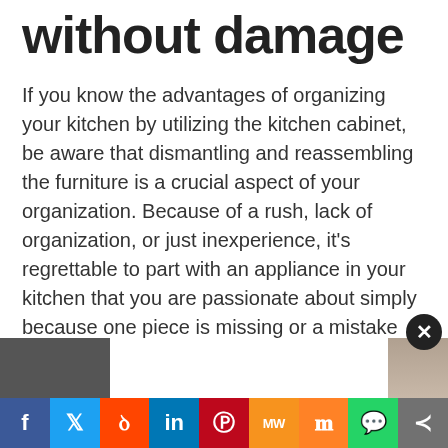without damage
If you know the advantages of organizing your kitchen by utilizing the kitchen cabinet, be aware that dismantling and reassembling the furniture is a crucial aspect of your organization. Because of a rush, lack of organization, or just inexperience, it's regrettable to part with an appliance in your kitchen that you are passionate about simply because one piece is missing or a mistake made when disassembling. Here are some helpful tips to remove kitchen cabinets without damage or losing some elements to avoid this.
Don't miss: How to restore metal kitchen cabinet